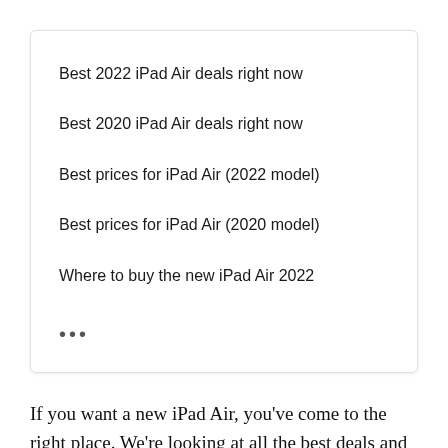Best 2022 iPad Air deals right now
Best 2020 iPad Air deals right now
Best prices for iPad Air (2022 model)
Best prices for iPad Air (2020 model)
Where to buy the new iPad Air 2022
•••
If you want a new iPad Air, you've come to the right place. We're looking at all the best deals and prices for the iPad Air right now–including contract plans. The Air remains incredibly popular and is an